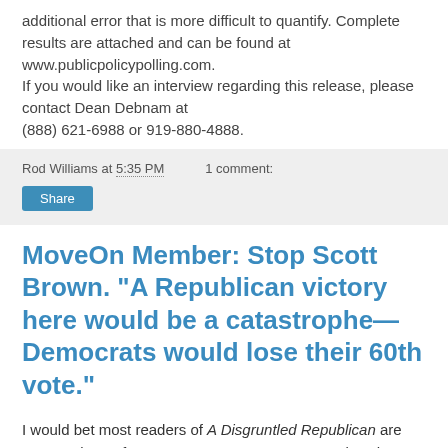additional error that is more difficult to quantify. Complete results are attached and can be found at www.publicpolicypolling.com. If you would like an interview regarding this release, please contact Dean Debnam at (888) 621-6988 or 919-880-4888.
Rod Williams at 5:35 PM   1 comment:
Share
MoveOn Member: Stop Scott Brown. "A Republican victory here would be a catastrophe—Democrats would lose their 60th vote."
I would bet most readers of A Disgruntled Republican are not members of MoveOn.org. I am. I am so you don't have to be. I thought you might find it interesting to see how concerned